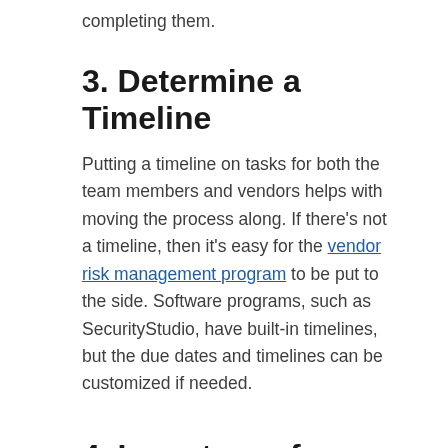completing them.
3. Determine a Timeline
Putting a timeline on tasks for both the team members and vendors helps with moving the process along.  If there's not a timeline, then it's easy for the vendor risk management program to be put to the side.  Software programs, such as SecurityStudio, have built-in timelines, but the due dates and timelines can be customized if needed.
4. Inventory of Vendors
Taking inventory of the organization's vendors is a key step in becoming defensible.  Whether the organization is using a software program or a